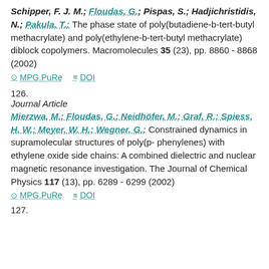Schipper, F. J. M.; Floudas, G.; Pispas, S.; Hadjichristidis, N.; Pakula, T.: The phase state of poly(butadiene-b-tert-butyl methacrylate) and poly(ethylene-b-tert-butyl methacrylate) diblock copolymers. Macromolecules 35 (23), pp. 8860 - 8868 (2002)
MPG.PuRe   DOI
126.
Journal Article
Mierzwa, M.; Floudas, G.; Neidhöfer, M.; Graf, R.; Spiess, H. W.; Meyer, W. H.; Wegner, G.: Constrained dynamics in supramolecular structures of poly(p- phenylenes) with ethylene oxide side chains: A combined dielectric and nuclear magnetic resonance investigation. The Journal of Chemical Physics 117 (13), pp. 6289 - 6299 (2002)
MPG.PuRe   DOI
127.